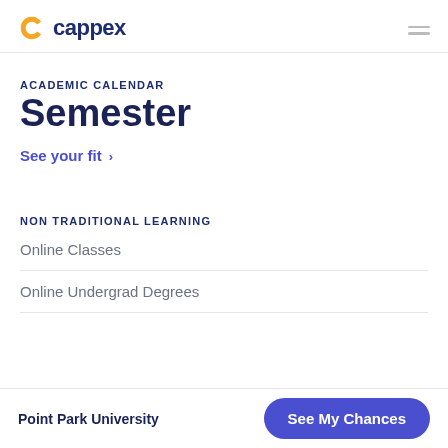cappex
ACADEMIC CALENDAR
Semester
See your fit ›
NON TRADITIONAL LEARNING
Online Classes
Online Undergrad Degrees
Point Park University | See My Chances